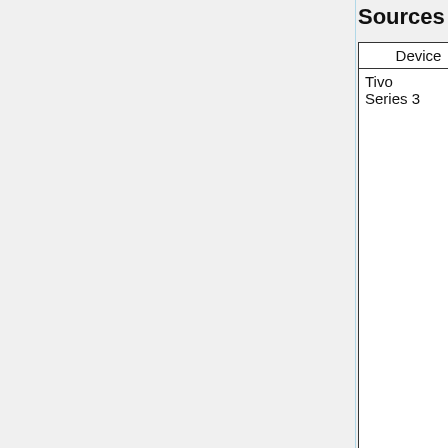Sources
| Device | Fw rev | Resolution | Comp |
| --- | --- | --- | --- |
| Tivo Series 3 | unknown | forced 720p | intern (11) |